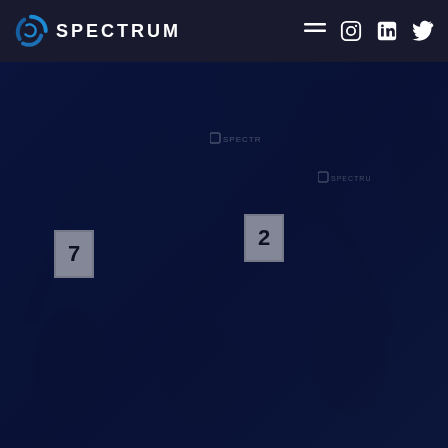[Figure (logo): Spectrum logo with blue swirl icon and white SPECTRUM text on dark navy navigation bar]
[Figure (photo): Dark blue overlay on background photo of people wearing Spectrum branded shirts at what appears to be a running race or charity event, with race bib numbers 7 and 2 visible]